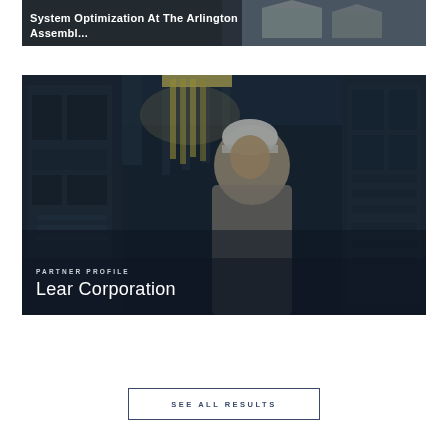[Figure (photo): Partially visible card showing aerial/architectural image with white bold text overlaid: 'System Optimization At The Arlington Assembl...']
[Figure (photo): Industrial/manufacturing worker in white hard hat looking upward at equipment in a factory setting. Dark industrial environment with machinery panels visible on left and right. Text overlay shows 'PARTNER PROFILE' and 'Lear Corporation'.]
SEE ALL RESULTS